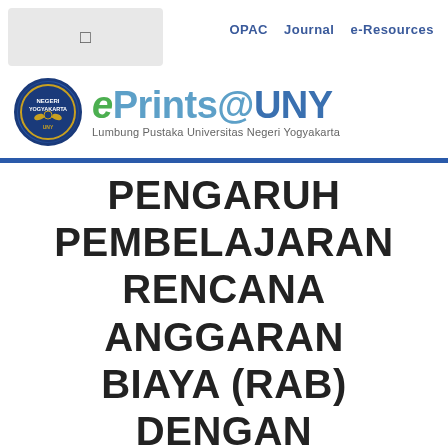OPAC  Journal  e-Resources
[Figure (logo): ePrints@UNY logo with UNY crest and text 'ePrints@UNY — Lumbung Pustaka Universitas Negeri Yogyakarta']
PENGARUH PEMBELAJARAN RENCANA ANGGARAN BIAYA (RAB) DENGAN PENDEKATAN KUIS INTERAKTIF BERBASIS